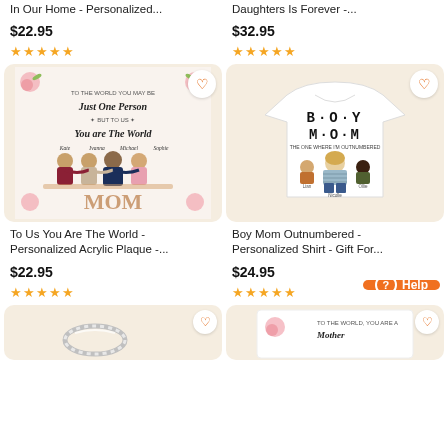In Our Home - Personalized...
Daughters Is Forever -...
$22.95
$32.95
[Figure (photo): Five-star rating (4.5 stars) for first product]
[Figure (photo): Five-star rating (4.5 stars) for second product]
[Figure (photo): Personalized acrylic plaque showing family sitting on MOM letters with floral border]
[Figure (photo): White t-shirt with BOY MOM text and illustration of mother with two boys]
To Us You Are The World - Personalized Acrylic Plaque -...
Boy Mom Outnumbered - Personalized Shirt - Gift For...
$22.95
$24.95
[Figure (photo): Five-star rating for third product]
[Figure (photo): Five-star rating for fourth product]
[Figure (photo): Partially visible ring product image]
[Figure (photo): Partially visible floral gift product image]